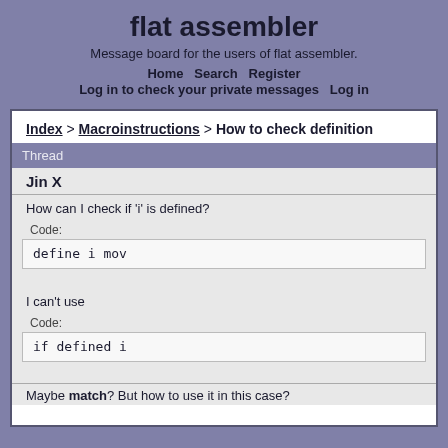flat assembler
Message board for the users of flat assembler.
Home   Search   Register   Log in to check your private messages   Log in
Index > Macroinstructions > How to check definition
Thread
Jin X
How can I check if 'i' is defined?
Code:
define i mov
I can't use
Code:
if defined i
Maybe match? But how to use it in this case?